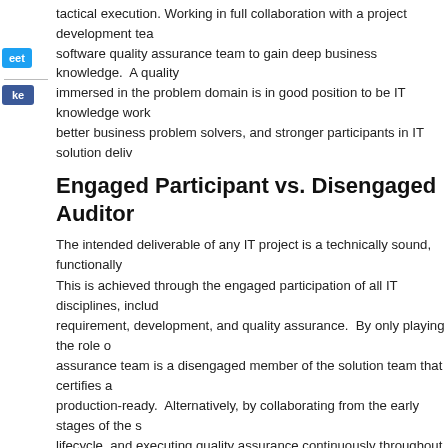tactical execution. Working in full collaboration with a project development team, the software quality assurance team to gain deep business knowledge. A quality assurance team immersed in the problem domain is in good position to be IT knowledge workers, better business problem solvers, and stronger participants in IT solution delivery.
Engaged Participant vs. Disengaged Auditor
The intended deliverable of any IT project is a technically sound, functionally sound. This is achieved through the engaged participation of all IT disciplines, including requirement, development, and quality assurance. By only playing the role of auditor, quality assurance team is a disengaged member of the solution team that certifies an production-ready. Alternatively, by collaborating from the early stages of the solution lifecycle, and executing quality assurance continuously throughout, the software QA team works as a value-added partner that directly contributes to an increased gradual evolution of a business solution. Ultimately, this approach increases software quality assurance and the return on IT investments.
What steps can your team take to move from a bandaid approach to a more holistic software quality assurance and testing?
Photo Credit: Andres Rueda
Tags: alignment, featured, project success, software requirements definition
Category: Requirements Definition, Team Performance